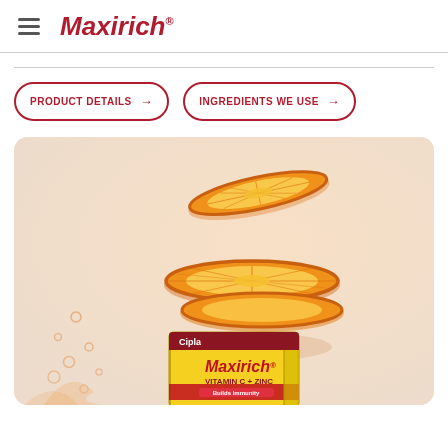[Figure (logo): Maxirich brand logo in dark red italic text with registered trademark symbol]
PRODUCT DETAILS →
INGREDIENTS WE USE →
[Figure (photo): Product photo of Maxirich Vitamin C + Zinc box by Cipla, surrounded by orange slices floating in the air against a warm peach/cream background]